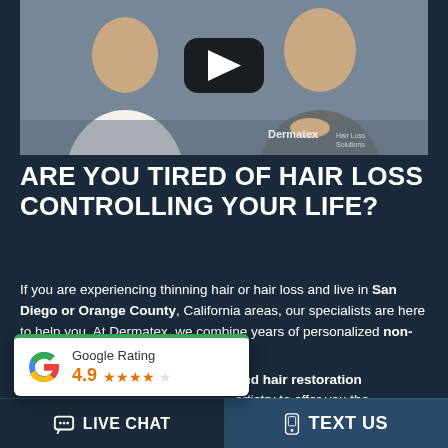[Figure (screenshot): YouTube-style video thumbnail showing two men sitting side by side. Left man wears white shirt, right man wears grey shirt. YouTube play button overlay in center. Dermatex watermark in lower right.]
ARE YOU TIRED OF HAIR LOSS CONTROLLING YOUR LIFE?
If you are experiencing thinning hair or hair loss and live in San Diego or Orange County, California areas, our specialists are here to help you. At Dermatex, we combine years of personalized non- and hair restoration artistry to offer you the
[Figure (other): Google Rating popup overlay showing Google G logo, text 'Google Rating', rating 4.9 with 4.5 orange stars, green bar at top]
LIVE CHAT
TEXT US